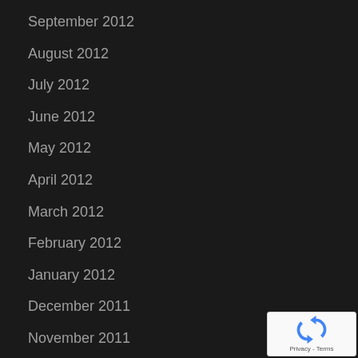September 2012
August 2012
July 2012
June 2012
May 2012
April 2012
March 2012
February 2012
January 2012
December 2011
November 2011
October 2011
September 2011
August 2011
July 2011
June 2011
May 2011
[Figure (logo): reCAPTCHA badge with circular arrow logo and Privacy - Terms text]